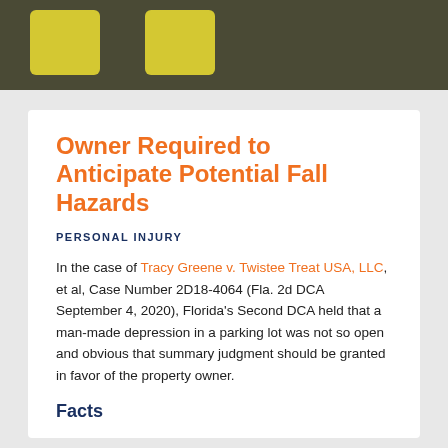[Figure (photo): Dark background photo with two yellow parking stop blocks visible at the top]
Owner Required to Anticipate Potential Fall Hazards
PERSONAL INJURY
In the case of Tracy Greene v. Twistee Treat USA, LLC, et al, Case Number 2D18-4064 (Fla. 2d DCA September 4, 2020), Florida's Second DCA held that a man-made depression in a parking lot was not so open and obvious that summary judgment should be granted in favor of the property owner.
Facts